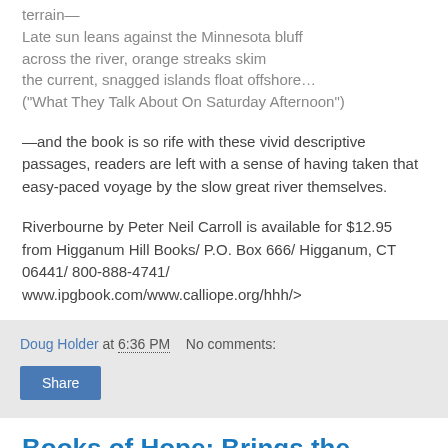terrain—
Late sun leans against the Minnesota bluff
across the river, orange streaks skim
the current, snagged islands float offshore…
("What They Talk About On Saturday Afternoon")
—and the book is so rife with these vivid descriptive passages, readers are left with a sense of having taken that easy-paced voyage by the slow great river themselves.
Riverbourne by Peter Neil Carroll is available for $12.95 from Higganum Hill Books/ P.O. Box 666/ Higganum, CT 06441/ 800-888-4741/ www.ipgbook.com/www.calliope.org/hhh/>
Doug Holder at 6:36 PM   No comments:
Books of Hope: Brings the Writer Out in Somerville Youth